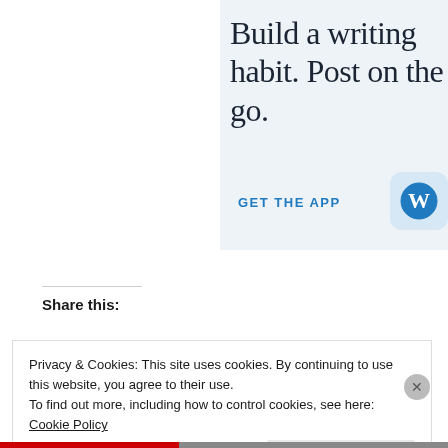[Figure (screenshot): WordPress app promotional banner with light blue background. Large serif text reads 'Build a writing habit. Post on the go.' with a 'GET THE APP' link and WordPress logo icon.]
Share this:
Privacy & Cookies: This site uses cookies. By continuing to use this website, you agree to their use.
To find out more, including how to control cookies, see here: Cookie Policy
Close and accept